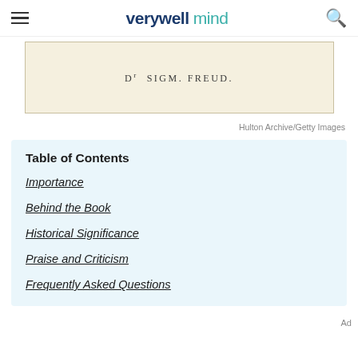verywellmind
[Figure (photo): Old document or nameplate reading 'Dr SIGM. FREUD.' on cream/beige background]
Hulton Archive/Getty Images
Table of Contents
Importance
Behind the Book
Historical Significance
Praise and Criticism
Frequently Asked Questions